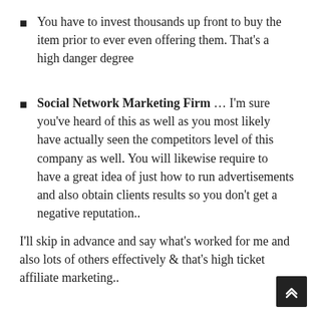You have to invest thousands up front to buy the item prior to ever even offering them. That's a high danger degree
Social Network Marketing Firm … I'm sure you've heard of this as well as you most likely have actually seen the competitors level of this company as well. You will likewise require to have a great idea of just how to run advertisements and also obtain clients results so you don't get a negative reputation..
I'll skip in advance and say what's worked for me and also lots of others effectively & that's high ticket affiliate marketing..